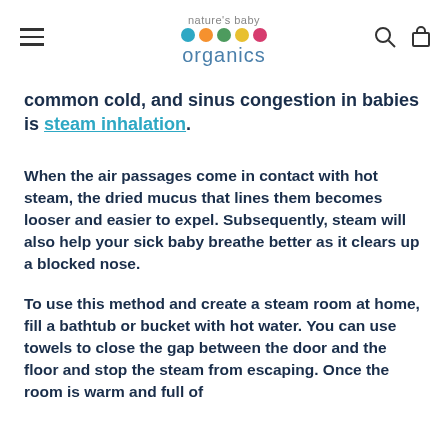nature's baby organics
common cold, and sinus congestion in babies is steam inhalation.
When the air passages come in contact with hot steam, the dried mucus that lines them becomes looser and easier to expel. Subsequently, steam will also help your sick baby breathe better as it clears up a blocked nose.
To use this method and create a steam room at home, fill a bathtub or bucket with hot water. You can use towels to close the gap between the door and the floor and stop the steam from escaping. Once the room is warm and full of